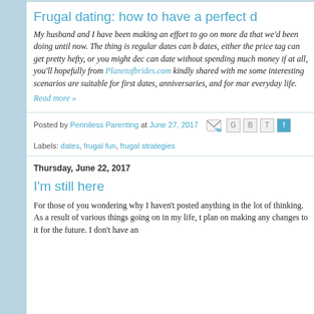Frugal dating: how to have a perfect d
My husband and I have been making an effort to go on more da that we'd been doing until now. The thing is regular dates can b dates, either the price tag can get pretty hefty, or you might dec can date without spending much money if at all, you'll hopefully from Planetofbrides.com kindly shared with me some interesting scenarios are suitable for first dates, anniversaries, and for mar everyday life.
Read more »
Posted by Penniless Parenting at June 27, 2017
Labels: dates, frugal fun, frugal strategies
Thursday, June 22, 2017
I'm still here
For those of you wondering why I haven't posted anything in the lot of thinking. As a result of various things going on in my life, t plan on making any changes to it for the future. I don't have an